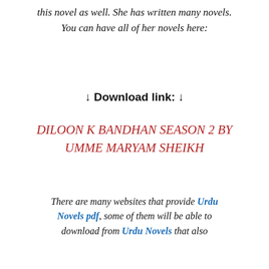this novel as well. She has written many novels. You can have all of her novels here:
↓ Download link: ↓
DILOON K BANDHAN SEASON 2 BY UMME MARYAM SHEIKH
There are many websites that provide Urdu Novels pdf, some of them will be able to download from Urdu Novels that also